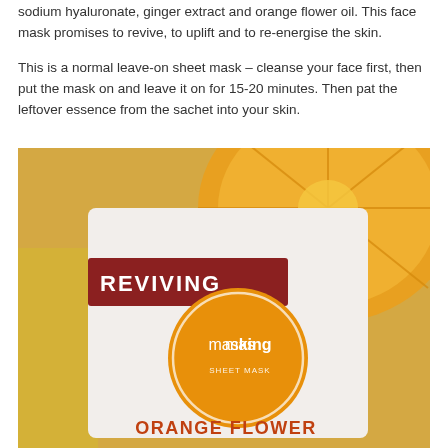sodium hyaluronate, ginger extract and orange flower oil. This face mask promises to revive, to uplift and to re-energise the skin.
This is a normal leave-on sheet mask – cleanse your face first, then put the mask on and leave it on for 15-20 minutes. Then pat the leftover essence from the sachet into your skin.
[Figure (photo): Product photo of a 'masking' brand REVIVING Orange Flower face sheet mask sachet. The packaging shows an orange circle logo with 'masking' text, a dark red/maroon banner reading 'REVIVING', and 'ORANGE FLOWER' text at the bottom. Background features a cross-section of an orange and yellow citrus fruit slices.]